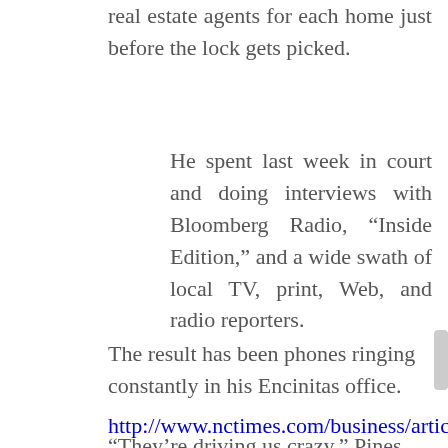real estate agents for each home just before the lock gets picked.
He spent last week in court and doing interviews with Bloomberg Radio, “Inside Edition,” and a wide swath of local TV, print, Web, and radio reporters.
The result has been phones ringing constantly in his Encinitas office.
“They’re driving us crazy,” Pines said.
http://www.nctimes.com/business/article_83